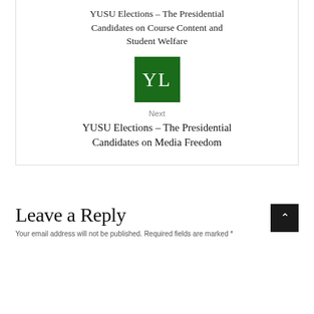YUSU Elections – The Presidential Candidates on Course Content and Student Welfare
[Figure (logo): Green square logo with white letters YL]
Next
YUSU Elections – The Presidential Candidates on Media Freedom
Leave a Reply
Your email address will not be published. Required fields are marked *